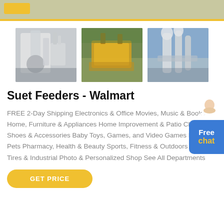[Figure (photo): Three industrial machinery photos: white milling/grinding equipment in factory; yellow industrial separator equipment outdoors; industrial pipes and cyclone equipment with blue sky background.]
Suet Feeders - Walmart
FREE 2-Day Shipping Electronics & Office Movies, Music & Books Home, Furniture & Appliances Home Improvement & Patio Clothing, Shoes & Accessories Baby Toys, Games, and Video Games Food, & Pets Pharmacy, Health & Beauty Sports, Fitness & Outdoors Auto, Tires & Industrial Photo & Personalized Shop See All Departments
GET PRICE